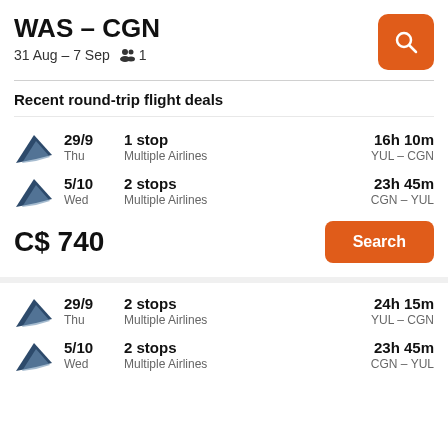WAS – CGN
31 Aug – 7 Sep  👥 1
Recent round-trip flight deals
29/9 Thu | 1 stop Multiple Airlines | 16h 10m YUL – CGN
5/10 Wed | 2 stops Multiple Airlines | 23h 45m CGN – YUL
C$ 740
Search
29/9 Thu | 2 stops Multiple Airlines | 24h 15m YUL – CGN
5/10 Wed | 2 stops Multiple Airlines | 23h 45m CGN – YUL